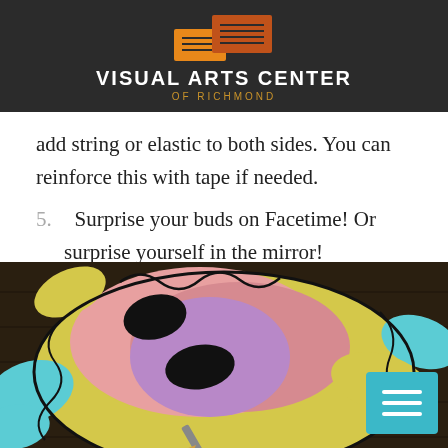Visual Arts Center of Richmond
add string or elastic to both sides. You can reinforce this with tape if needed.
5.  Surprise your buds on Facetime! Or surprise yourself in the mirror!
[Figure (photo): A colorful handmade face mask with abstract wavy cutouts in pink, yellow, blue and purple, viewed from close up on a dark wooden surface. A pencil or brush is visible at the bottom.]
[Figure (other): Teal/cyan hamburger menu button icon in the bottom right corner]